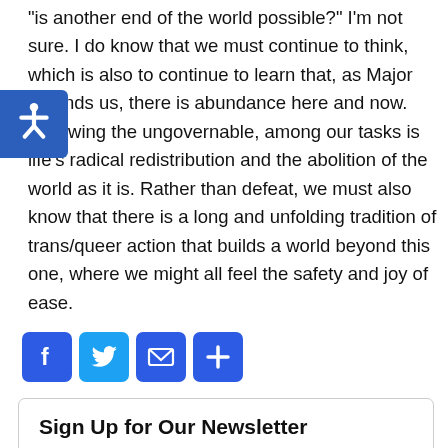“is another end of the world possible?” I’m not sure. I do know that we must continue to think, which is also to continue to learn that, as Major reminds us, there is abundance here and now. Following the ungovernable, among our tasks is life’s radical redistribution and the abolition of the world as it is. Rather than defeat, we must also know that there is a long and unfolding tradition of trans/queer action that builds a world beyond this one, where we might all feel the safety and joy of ease.
[Figure (other): Accessibility widget icon (wheelchair symbol on blue background) overlaid on the left side of the text.]
[Figure (other): Four social sharing buttons: Facebook (f), Twitter (bird), Email (envelope), Share (+) — all blue square icons.]
Sign Up for Our Newsletter
Email Address
Your email address